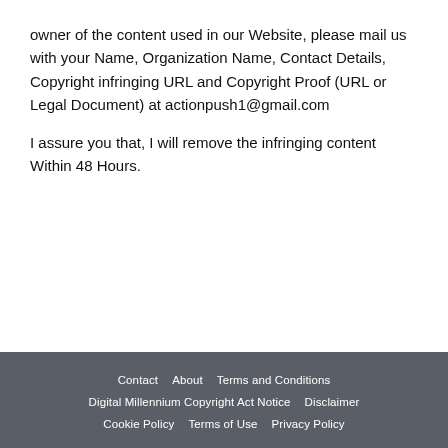owner of the content used in our Website, please mail us with your Name, Organization Name, Contact Details, Copyright infringing URL and Copyright Proof (URL or Legal Document) at actionpush1@gmail.com
I assure you that, I will remove the infringing content Within 48 Hours.
Contact | About | Terms and Conditions | Digital Millennium Copyright Act Notice | Disclaimer | Cookie Policy | Terms of Use | Privacy Policy